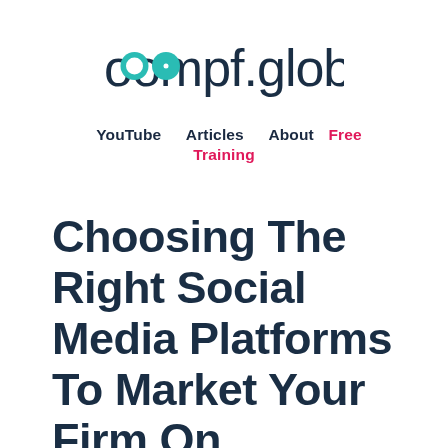[Figure (logo): oompf.global logo with teal circle dot over the two o's in 'oompf']
YouTube   Articles   About   Free Training
Choosing The Right Social Media Platforms To Market Your Firm On
by Amanda C. Watts